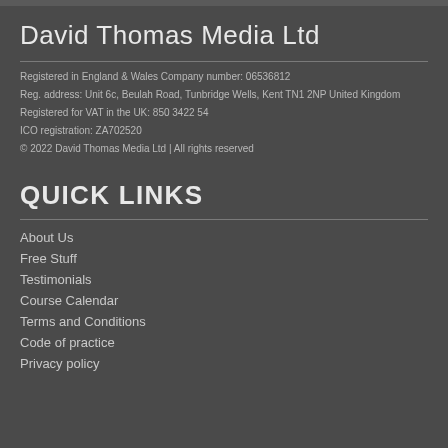David Thomas Media Ltd
Registered in England & Wales Company number: 06536812
Reg. address: Unit 6c, Beulah Road, Tunbridge Wells, Kent TN1 2NP United Kingdom
Registered for VAT in the UK: 850 3422 54
ICO registration: ZA702520
© 2022 David Thomas Media Ltd | All rights reserved
QUICK LINKS
About Us
Free Stuff
Testimonials
Course Calendar
Terms and Conditions
Code of practice
Privacy policy